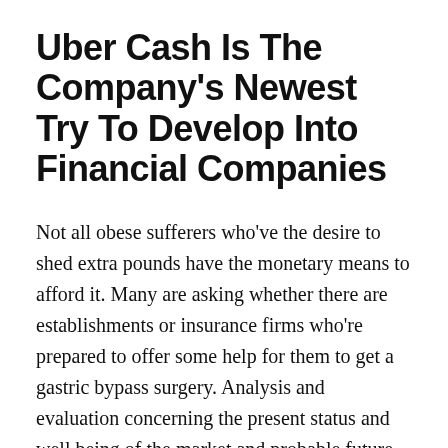Uber Cash Is The Company's Newest Try To Develop Into Financial Companies
Not all obese sufferers who've the desire to shed extra pounds have the monetary means to afford it. Many are asking whether there are establishments or insurance firms who're prepared to offer some help for them to get a gastric bypass surgery. Analysis and evaluation concerning the present status and well being of the market and probable future prospects for the market are the following step in preparing a financial model. For real estate, data akin to